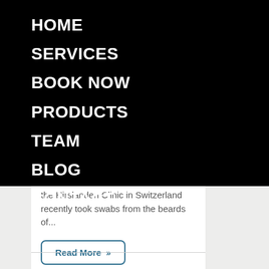HOME
SERVICES
BOOK NOW
PRODUCTS
TEAM
BLOG
CONTACT
the Hirslanden Clinic in Switzerland recently took swabs from the beards of...
Read More »